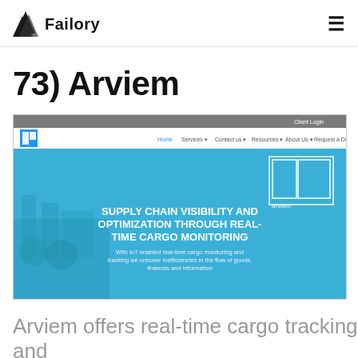Failory
73) Arviem
[Figure (screenshot): Screenshot of Arviem website showing a navigation bar with logo and menu items (Home, Services, Contact us, Resources, About Us, Request a Demo), and a hero banner with a blue overlay over an industrial port background. The hero text reads 'SUPPLY CHAIN VISIBILITY AND OPTIMIZATION THROUGH REAL-TIME CARGO MONITORING' with subtitle 'With IoT enabled real-time cargo monitoring and tracking we uncover inefficiencies in the flow of goods, finances and information'. The Arviem logo appears in the top right of the hero.]
Arviem offers real-time cargo tracking and